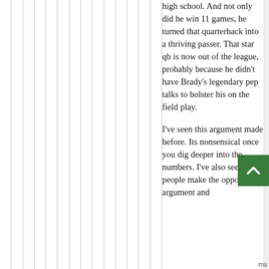high school. And not only did he win 11 games, he turned that quarterback into a thriving passer. That star qb is now out of the league, probably because he didn't have Brady's legendary pep talks to bolster his on the field play.
I've seen this argument made before. Its nonsensical once you dig deeper into the numbers. I've also seen people make the opposite argument and